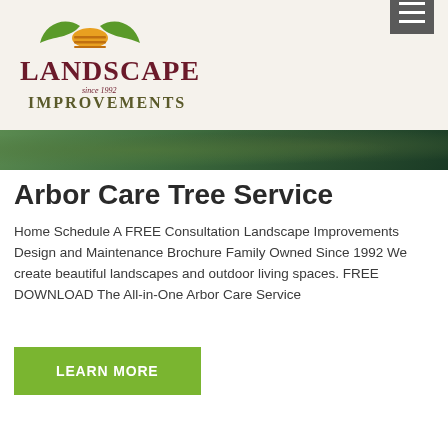Landscape Improvements since 1992
[Figure (photo): Hero image strip showing green tree foliage/landscape]
Arbor Care Tree Service
Home Schedule A FREE Consultation Landscape Improvements Design and Maintenance Brochure Family Owned Since 1992 We create beautiful landscapes and outdoor living spaces. FREE DOWNLOAD The All-in-One Arbor Care Service
LEARN MORE